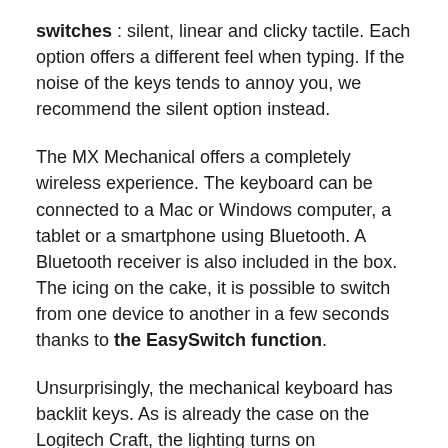switches : silent, linear and clicky tactile. Each option offers a different feel when typing. If the noise of the keys tends to annoy you, we recommend the silent option instead.
The MX Mechanical offers a completely wireless experience. The keyboard can be connected to a Mac or Windows computer, a tablet or a smartphone using Bluetooth. A Bluetooth receiver is also included in the box. The icing on the cake, it is possible to switch from one device to another in a few seconds thanks to the EasySwitch function.
Unsurprisingly, the mechanical keyboard has backlit keys. As is already the case on the Logitech Craft, the lighting turns on automatically as soon as you approach your hands. It is possible to customize the way the backlight works, like on keyboards intended for gamers. Logitech announces 15 days of autonomy with a single charge. If the backlight is off,